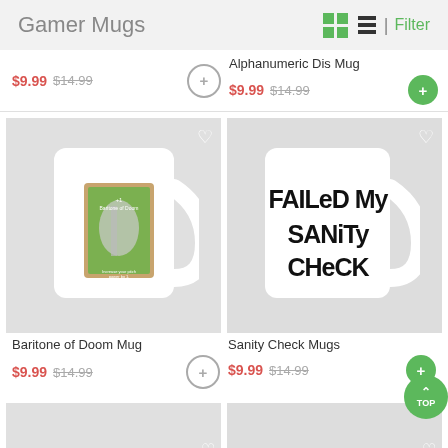Gamer Mugs
Alphanumeric Dis Mug
$9.99 $14.99 (top-left item)
$9.99 $14.99 (Alphanumeric Dis Mug)
[Figure (photo): White coffee mug with Baritone of Doom card design on green background]
[Figure (photo): White coffee mug reading FAILED MY SANITY CHECK in black hand-drawn text]
Baritone of Doom Mug
Sanity Check Mugs
$9.99 $14.99 (Baritone of Doom)
$9.99 $14.99 (Sanity Check)
[Figure (photo): Partial view of mug thumbnail (bottom left)]
[Figure (photo): Partial view of mug thumbnail (bottom right)]